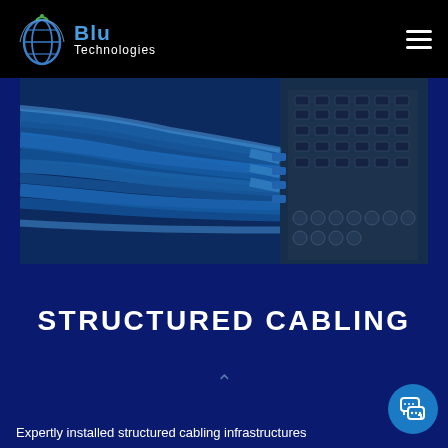Blu Technologies
[Figure (photo): Close-up photo of blue ethernet/network cables plugged into a network switch, with blue-tinted lighting and dense cable bundles]
STRUCTURED CABLING
Expertly installed structured cabling infrastructures